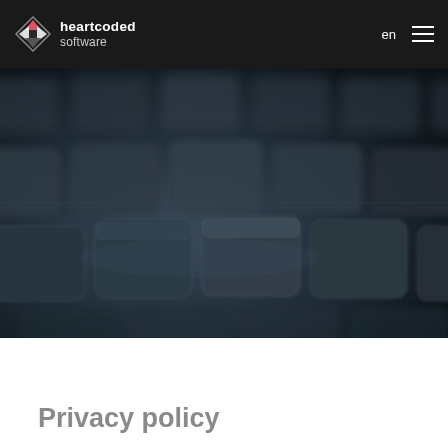heartcoded software  en
[Figure (photo): Close-up photograph of a dark laptop keyboard with rounded keys, shot at a shallow depth of field with blue-grey tones]
Privacy policy